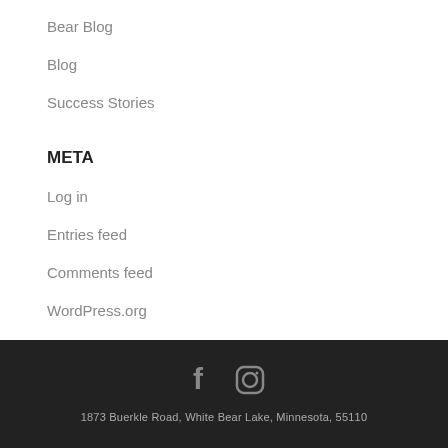Bear Blog
Blog
Success Stories
META
Log in
Entries feed
Comments feed
WordPress.org
[Figure (other): Social media icons: Facebook and Instagram]
1873 Buerkle Road, White Bear Lake, Minnesota, 55110